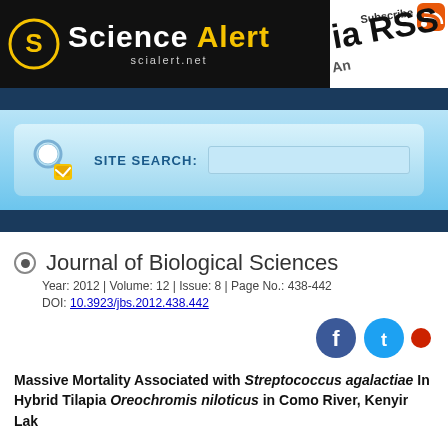[Figure (logo): Science Alert logo on black background with yellow 'Alert' text and 'scialert.net' domain. RSS subscribe overlay in top-right corner.]
[Figure (infographic): Site search bar with magnifying glass icon on light blue gradient background. Label reads 'SITE SEARCH:']
Journal of Biological Sciences
Year: 2012 | Volume: 12 | Issue: 8 | Page No.: 438-442
DOI: 10.3923/jbs.2012.438.442
Massive Mortality Associated with Streptococcus agalactiae In Hybrid Tilapia Oreochromis niloticus in Como River, Kenyir Lak